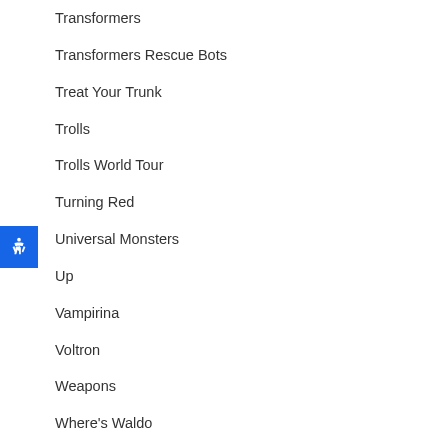Transformers
Transformers Rescue Bots
Treat Your Trunk
Trolls
Trolls World Tour
Turning Red
Universal Monsters
Up
Vampirina
Voltron
Weapons
Where's Waldo
Winnie The Pooh
Witcher, The
Wizarding World